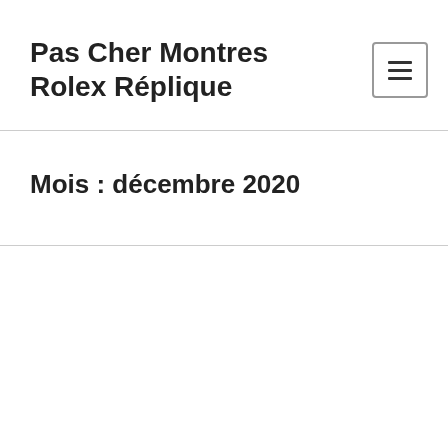Pas Cher Montres Rolex Réplique
Mois : décembre 2020